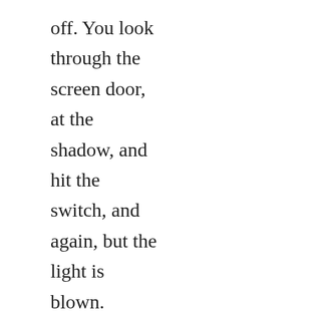off. You look through the screen door, at the shadow, and hit the switch, and again, but the light is blown.

The shadow moves forward, into the light the